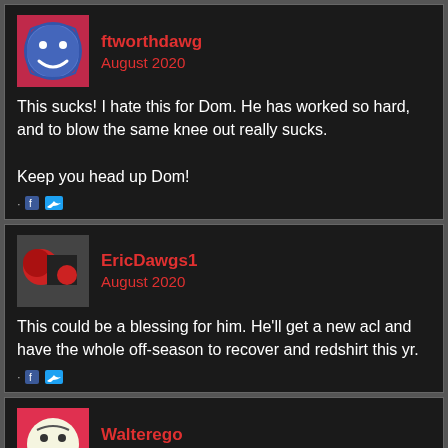ftworthdawg
August 2020
This sucks! I hate this for Dom. He has worked so hard, and to blow the same knee out really sucks.

Keep you head up Dom!
EricDawgs1
August 2020
This could be a blessing for him. He'll get a new acl and have the whole off-season to recover and redshirt this yr.
Walterego
August 2020
JayDog, this is common when MDs, PTs, and ATCs dont's